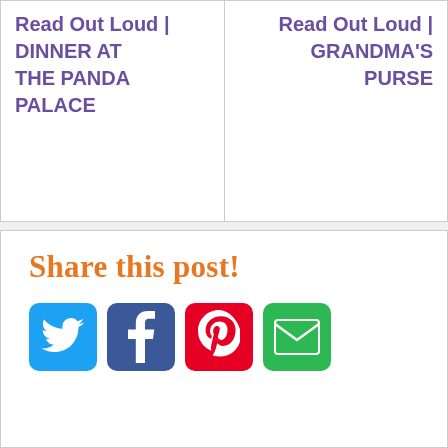| Read Out Loud | DINNER AT THE PANDA PALACE | Read Out Loud | GRANDMA'S PURSE |
Share this post!
[Figure (other): Four social media icon buttons: Twitter (blue bird), Facebook (blue f), Pinterest (red P), Email (green envelope)]
Follow Us on Twitter